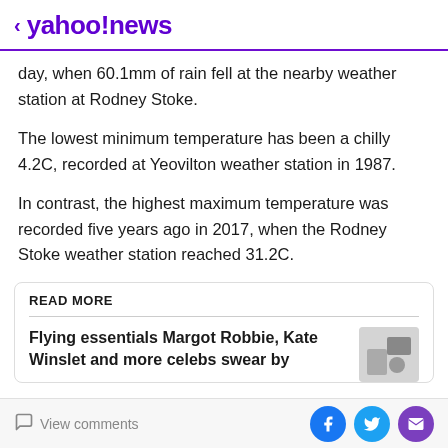< yahoo!news
day, when 60.1mm of rain fell at the nearby weather station at Rodney Stoke.
The lowest minimum temperature has been a chilly 4.2C, recorded at Yeovilton weather station in 1987.
In contrast, the highest maximum temperature was recorded five years ago in 2017, when the Rodney Stoke weather station reached 31.2C.
READ MORE
Flying essentials Margot Robbie, Kate Winslet and more celebs swear by
View comments